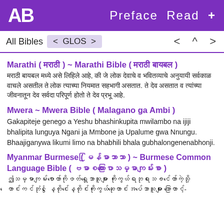AB  Preface  Read  +
All Bibles  < GLOS >   <  ^  >
Marathi ( मराठी ) ~ Marathi Bible ( मराठी बायबल )
मराठी text in Devanagari script (preface content)
Mwera ~ Mwera Bible ( Malagano ga Ambi )
Gakapiteje genego a Yeshu bhashinkupita mwilambo na ijiji bhalipita lunguya Ngani ja Mmbone ja Upalume gwa Nnungu. Bhaajiganywa likumi limo na bhabhili bhala gubhalongenenabhonji.
Myanmar Burmese ( မြန်မာဘာသာ ) ~ Burmese Common Language Bible ( ဗမာစကားပြောသမ္မာကျမ်းစာ )
Burmese text content (preface)